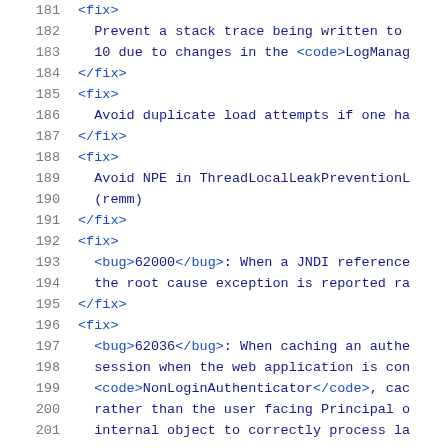181  <fix>
182    Prevent a stack trace being written to
183    10 due to changes in the <code>LogManag
184  </fix>
185  <fix>
186    Avoid duplicate load attempts if one ha
187  </fix>
188  <fix>
189    Avoid NPE in ThreadLocalLeakPreventionL
190    (remm)
191  </fix>
192  <fix>
193    <bug>62000</bug>: When a JNDI reference
194    the root cause exception is reported ra
195  </fix>
196  <fix>
197    <bug>62036</bug>: When caching an authe
198    session when the web application is con
199    <code>NonLoginAuthenticator</code>, cac
200    rather than the user facing Principal o
201    internal object to correctly process la